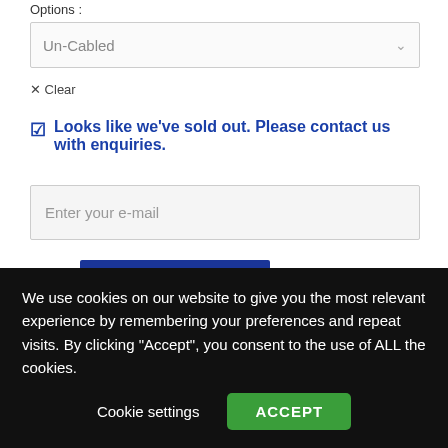Options :
Un-Cabled
✕ Clear
Looks like we've sold out. Please contact us with enquiries.
Enter your e-mail
NOTIFY ME
Reviews
We use cookies on our website to give you the most relevant experience by remembering your preferences and repeat visits. By clicking "Accept", you consent to the use of ALL the cookies.
Cookie settings
ACCEPT